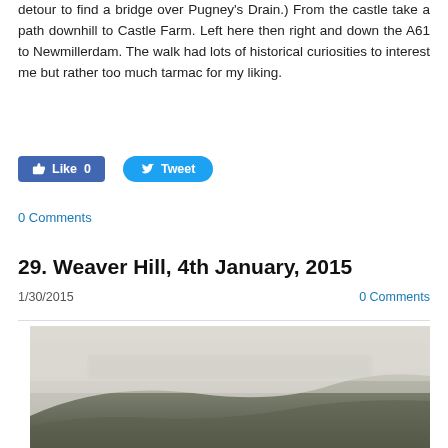detour to find a bridge over Pugney's Drain.) From the castle take a path downhill to Castle Farm. Left here then right and down the A61 to Newmillerdam. The walk had lots of historical curiosities to interest me but rather too much tarmac for my liking.
[Figure (screenshot): Facebook Like button showing 0 likes and a Twitter Tweet button]
0 Comments
29. Weaver Hill, 4th January, 2015
1/30/2015
0 Comments
[Figure (photo): A foggy landscape photo showing a hillside with grass and a misty background with trees]